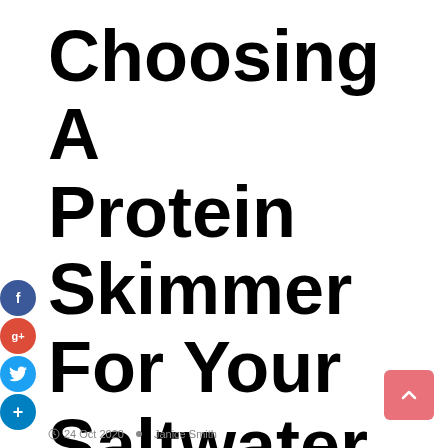Choosing A Protein Skimmer For Your Saltwater Aquarium
[Figure (infographic): Social sharing icons on the left side: Facebook (blue circle, f), Google+ (red circle, g+), Twitter (light blue circle, bird), and a dark blue circle with + sign]
[Figure (other): Pink/salmon rounded square scroll-to-top button with upward caret arrow]
24 Oct 2020   •   Janice Smith